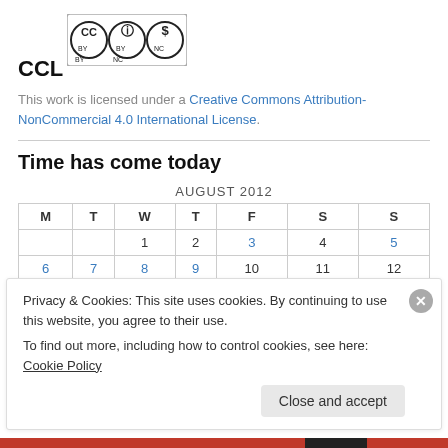CCL
[Figure (logo): Creative Commons BY-NC logo with three circular icons: CC, BY, NC]
This work is licensed under a Creative Commons Attribution-NonCommercial 4.0 International License.
Time has come today
AUGUST 2012
| M | T | W | T | F | S | S |
| --- | --- | --- | --- | --- | --- | --- |
|  |  | 1 | 2 | 3 | 4 | 5 |
| 6 | 7 | 8 | 9 | 10 | 11 | 12 |
Privacy & Cookies: This site uses cookies. By continuing to use this website, you agree to their use.
To find out more, including how to control cookies, see here: Cookie Policy
Close and accept